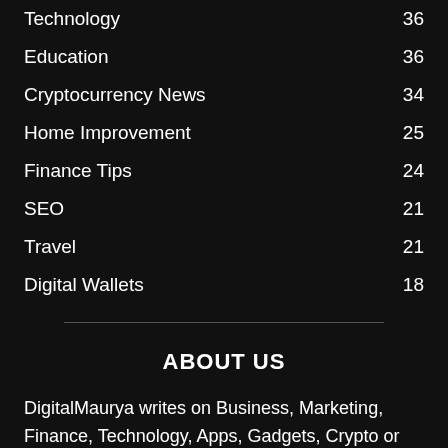Technology 36
Education 36
Cryptocurrency News 34
Home Improvement 25
Finance Tips 24
SEO 21
Travel 21
Digital Wallets 18
ABOUT US
DigitalMaurya writes on Business, Marketing, Finance, Technology, Apps, Gadgets, Crypto or Trending Topics to explore the world and we also accept the guest posting